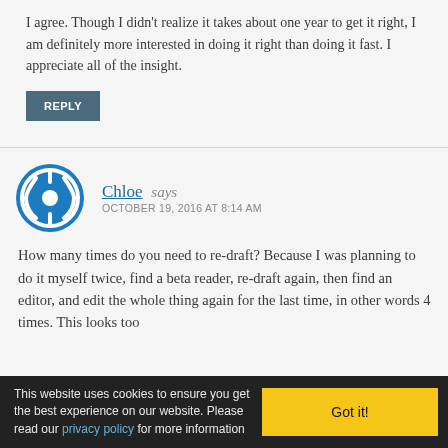I agree. Though I didn't realize it takes about one year to get it right, I am definitely more interested in doing it right than doing it fast. I appreciate all of the insight.
REPLY
Chloe says
OCTOBER 19, 2016 AT 8:14 AM
How many times do you need to re-draft? Because I was planning to do it myself twice, find a beta reader, re-draft again, then find an editor, and edit the whole thing again for the last time, in other words 4 times. This looks too
This website uses cookies to ensure you get the best experience on our website. Please read our privacy policy for more information
Got it!